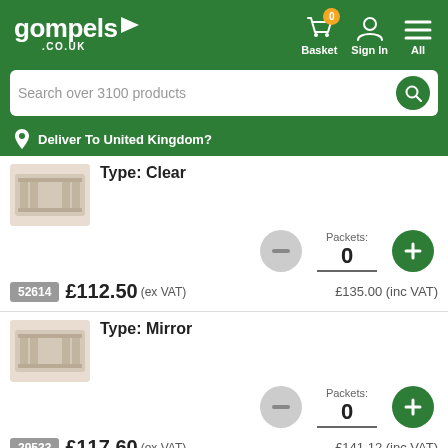gompels .CO.UK — Basket 0, Sign In, All
Search over 3100 products
Deliver To United Kingdom?
Type: Clear
Packets: 0
52614  £112.50 (ex VAT)  £135.00 (inc VAT)
Type: Mirror
Packets: 0
29533  £117.60 (ex VAT)  £141.12 (inc VAT)